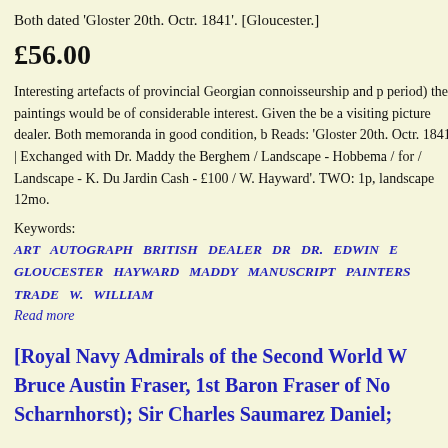Both dated 'Gloster 20th. Octr. 1841'. [Gloucester.]
£56.00
Interesting artefacts of provincial Georgian connoisseurship and p... period) the paintings would be of considerable interest. Given the... be a visiting picture dealer. Both memoranda in good condition, b... Reads: 'Gloster 20th. Octr. 1841 | Exchanged with Dr. Maddy the... Berghem / Landscape - Hobbema / for / Landscape - K. Du Jardin... Cash - £100 / W. Hayward'. TWO: 1p, landscape 12mo.
Keywords:
ART AUTOGRAPH BRITISH DEALER DR DR. EDWIN E... GLOUCESTER HAYWARD MADDY MANUSCRIPT PAINTERS... TRADE W. WILLIAM
Read more
[Royal Navy Admirals of the Second World W... Bruce Austin Fraser, 1st Baron Fraser of No... Scharnhorst); Sir Charles Saumarez Daniel;